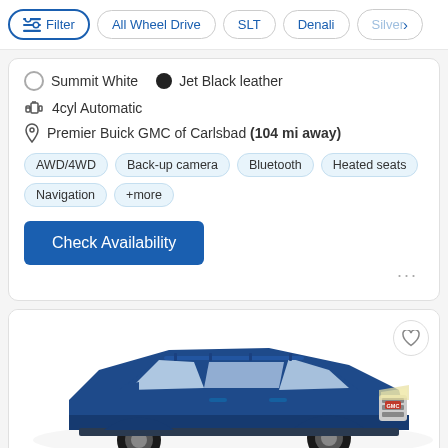Filter | All Wheel Drive | SLT | Denali | Silver >
Summit White  •  Jet Black leather
4cyl Automatic
Premier Buick GMC of Carlsbad (104 mi away)
AWD/4WD  Back-up camera  Bluetooth  Heated seats  Navigation  +more
Check Availability
[Figure (photo): Blue GMC SUV (Terrain) photographed from the front-right side on a white background]